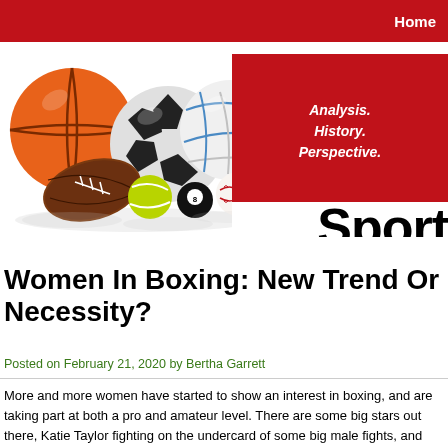Home
[Figure (illustration): Collection of sports balls including basketball, soccer ball, volleyball, American football, tennis ball, billiard ball, and baseball arranged together with reflections on a white surface, alongside a red banner with text 'Analysis. History. Perspective.' and large black text 'Sport']
Women In Boxing: New Trend Or Necessity?
Posted on February 21, 2020 by Bertha Garrett
More and more women have started to show an interest in boxing, and are taking part at both a pro and amateur level. There are some big stars out there, Katie Taylor fighting on the undercard of some big male fights, and people are